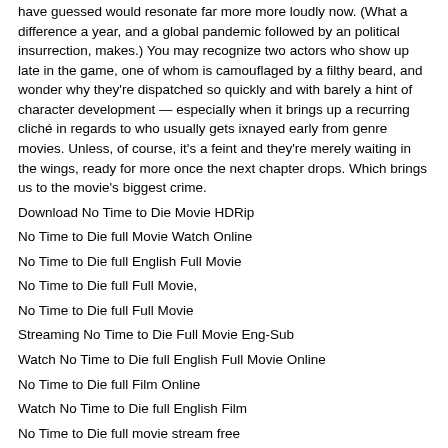have guessed would resonate far more more loudly now. (What a difference a year, and a global pandemic followed by an political insurrection, makes.) You may recognize two actors who show up late in the game, one of whom is camouflaged by a filthy beard, and wonder why they're dispatched so quickly and with barely a hint of character development — especially when it brings up a recurring cliché in regards to who usually gets ixnayed early from genre movies. Unless, of course, it's a feint and they're merely waiting in the wings, ready for more once the next chapter drops. Which brings us to the movie's biggest crime.
Download No Time to Die Movie HDRip
No Time to Die full Movie Watch Online
No Time to Die full English Full Movie
No Time to Die full Full Movie,
No Time to Die full Full Movie
Streaming No Time to Die Full Movie Eng-Sub
Watch No Time to Die full English Full Movie Online
No Time to Die full Film Online
Watch No Time to Die full English Film
No Time to Die full movie stream free